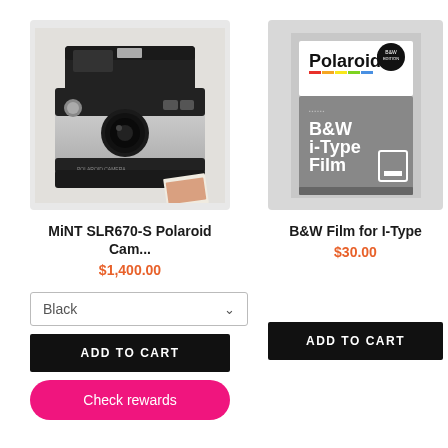[Figure (photo): MiNT SLR670-S Polaroid instant camera in black and silver on light background]
MiNT SLR670-S Polaroid Cam...
$1,400.00
[Figure (photo): Polaroid B&W i-Type Film box with gray packaging]
B&W Film for I-Type
$30.00
Black
ADD TO CART
Check rewards
ADD TO CART